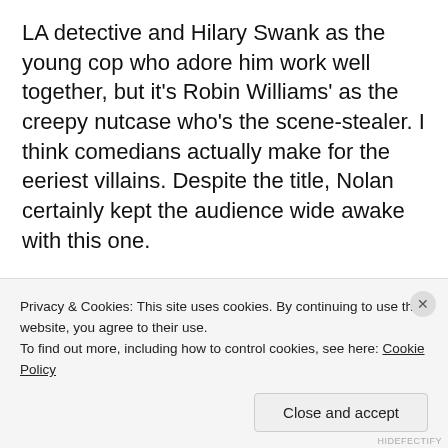LA detective and Hilary Swank as the young cop who adore him work well together, but it's Robin Williams' as the creepy nutcase who's the scene-stealer. I think comedians actually make for the eeriest villains. Despite the title, Nolan certainly kept the audience wide awake with this one.
7. Memento (2000)
Privacy & Cookies: This site uses cookies. By continuing to use this website, you agree to their use. To find out more, including how to control cookies, see here: Cookie Policy